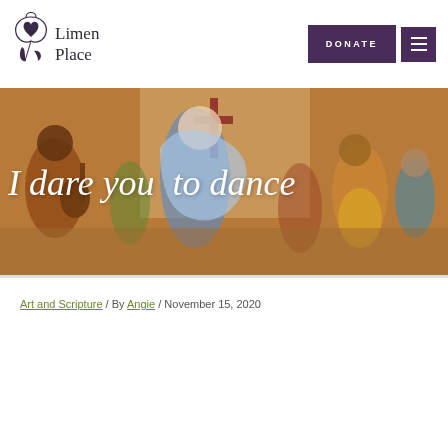Limen Place — DONATE navigation header
[Figure (screenshot): Limen Place logo: decorative swirl with heart and leaf motif alongside the text 'Limen Place']
[Figure (illustration): Hero image: colorful painting of people dancing in a church setting with a cross visible, figures in blue, yellow, and red]
I dare you to dance
Art and Scripture / By Angie / November 15, 2020